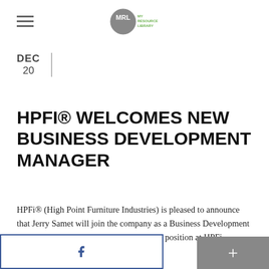MRL My Resource Library (logo)
DEC
20
HPFI® WELCOMES NEW BUSINESS DEVELOPMENT MANAGER
HPFi® (High Point Furniture Industries) is pleased to announce that Jerry Samet will join the company as a Business Development Manager beginning in January, 2017.  His position at HPFi represents the company by the…